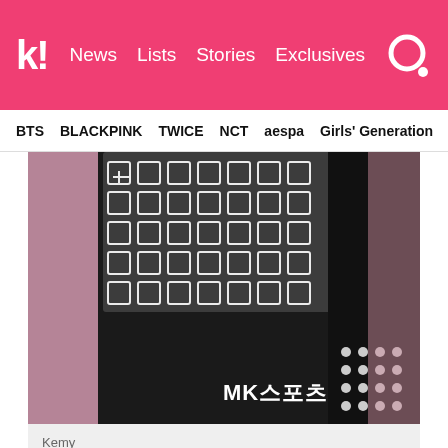k! News  Lists  Stories  Exclusives
BTS  BLACKPINK  TWICE  NCT  aespa  Girls' Generation
[Figure (photo): Photo of Kemy wearing a black and white patterned outfit with MK sports branding visible, with pink hair visible on the side]
Kemy
In 2014, Park Bom's career took a major hit when it was revealed that she had allegedly tried to smuggle in amphetamine tablets from the United States. Amphetamine is illegal in South Korea, so Park Bom's image took quite a hit by the general public.